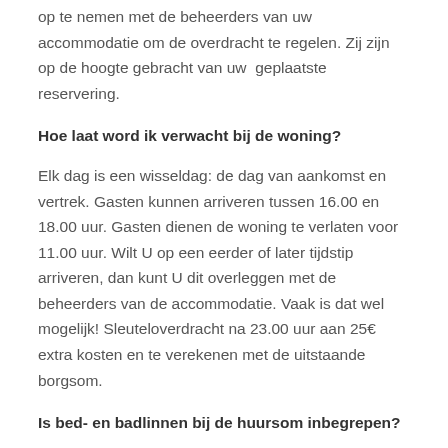op te nemen met de beheerders van uw accommodatie om de overdracht te regelen. Zij zijn op de hoogte gebracht van uw  geplaatste reservering.
Hoe laat word ik verwacht bij de woning?
Elk dag is een wisseldag: de dag van aankomst en vertrek. Gasten kunnen arriveren tussen 16.00 en 18.00 uur. Gasten dienen de woning te verlaten voor 11.00 uur. Wilt U op een eerder of later tijdstip arriveren, dan kunt U dit overleggen met de beheerders van de accommodatie. Vaak is dat wel mogelijk! Sleuteloverdracht na 23.00 uur aan 25€ extra kosten en te verekenen met de uitstaande borgsom.
Is bed- en badlinnen bij de huursom inbegrepen?